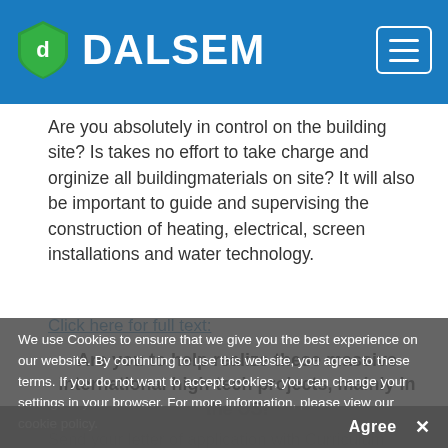DALSEM
Are you absolutely in control on the building site? Is takes no effort to take charge and orginize all buildingmaterials on site? It will also be important to guide and supervising the construction of heating, electrical, screen installations and water technology.
Click here for full text:
Are you to help realize these massive international high-tech projects, mainly in the US!
Send your letter of application with Curriculum Vitae and a short
We use Cookies to ensure that we give you the best experience on our website. By continuing to use this website, you agree to these terms. If you do not want to accept cookies, you can change your settings in your browser. For more information, please view our cookie policy.
Agree  ✕